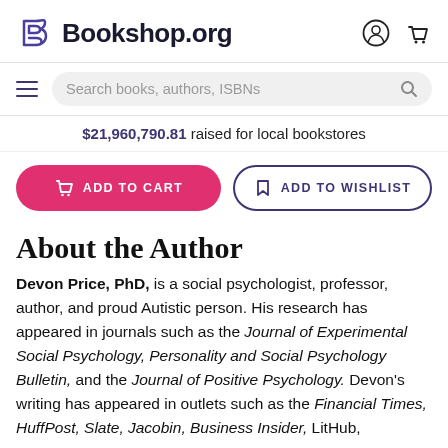Bookshop.org
Search books, authors, ISBNs
$21,960,790.81 raised for local bookstores
ADD TO CART
ADD TO WISHLIST
About the Author
Devon Price, PhD, is a social psychologist, professor, author, and proud Autistic person. His research has appeared in journals such as the Journal of Experimental Social Psychology, Personality and Social Psychology Bulletin, and the Journal of Positive Psychology. Devon's writing has appeared in outlets such as the Financial Times, HuffPost, Slate, Jacobin, Business Insider, LitHub,